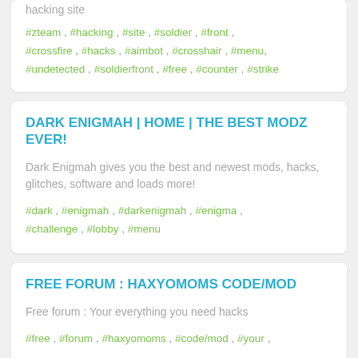hacking site
#zteam , #hacking , #site , #soldier , #front , #crossfire , #hacks , #aimbot , #crosshair , #menu, #undetected , #soldierfront , #free , #counter , #strike
DARK ENIGMAH | HOME | THE BEST MODZ EVER!
Dark Enigmah gives you the best and newest mods, hacks, glitches, software and loads more!
#dark , #enigmah , #darkenigmah , #enigma , #challenge , #lobby , #menu
FREE FORUM : HAXYOMOMS CODE/MOD
Free forum : Your everything you need hacks
#free , #forum , #haxyomoms , #code/mod , #your ,